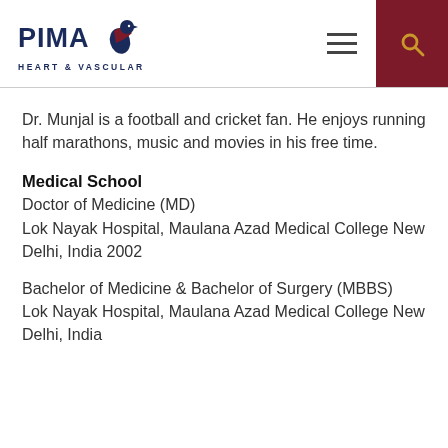PIMA HEART & VASCULAR
Dr. Munjal is a football and cricket fan. He enjoys running half marathons, music and movies in his free time.
Medical School
Doctor of Medicine (MD)
Lok Nayak Hospital, Maulana Azad Medical College New Delhi, India 2002
Bachelor of Medicine & Bachelor of Surgery (MBBS)
Lok Nayak Hospital, Maulana Azad Medical College New Delhi, India